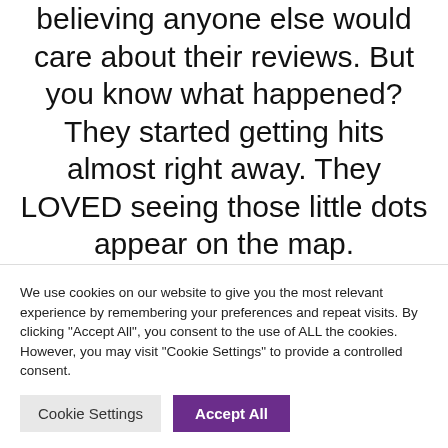believing anyone else would care about their reviews. But you know what happened? They started getting hits almost right away. They LOVED seeing those little dots appear on the map.

Now, this option does involve a bit of extra work for you. What I would do is retype the reviews for popular books to make the posts. Then every once in a while I would look through and create a
We use cookies on our website to give you the most relevant experience by remembering your preferences and repeat visits. By clicking "Accept All", you consent to the use of ALL the cookies. However, you may visit "Cookie Settings" to provide a controlled consent.